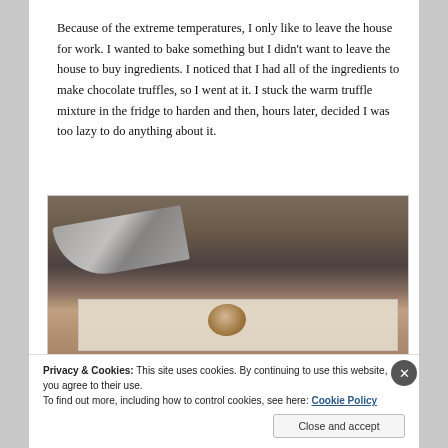Because of the extreme temperatures, I only like to leave the house for work. I wanted to bake something but I didn't want to leave the house to buy ingredients. I noticed that I had all of the ingredients to make chocolate truffles, so I went at it. I stuck the warm truffle mixture in the fridge to harden and then, hours later, decided I was too lazy to do anything about it.
[Figure (photo): A dark photo showing a kitchen knife and a piece of truffle on parchment paper against a wooden surface background.]
Privacy & Cookies: This site uses cookies. By continuing to use this website, you agree to their use. To find out more, including how to control cookies, see here: Cookie Policy